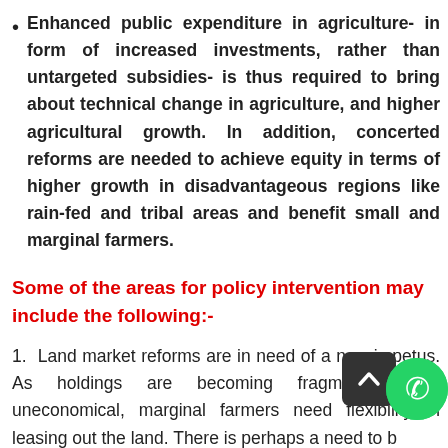Enhanced public expenditure in agriculture- in form of increased investments, rather than untargeted subsidies- is thus required to bring about technical change in agriculture, and higher agricultural growth. In addition, concerted reforms are needed to achieve equity in terms of higher growth in disadvantageous regions like rain-fed and tribal areas and benefit small and marginal farmers.
Some of the areas for policy intervention may include the following:-
1. Land market reforms are in need of a new impetus. As holdings are becoming fragmented and uneconomical, marginal farmers need flexibility in leasing out the land. There is perhaps a need to b...